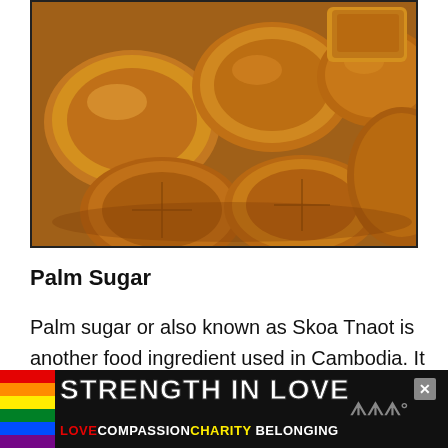[Figure (photo): Close-up photograph of palm sugar pieces — round disc-shaped brown sugar cakes and a rectangular block, arranged on what appears to be a woven surface. The sugar pieces are caramel/amber brown in color.]
Palm Sugar
Palm sugar or also known as Skoa Tnaot is another food ingredient used in Cambodia. It is made from the sugar
[Figure (other): Advertisement banner: 'STRENGTH IN LOVE' in white bold text on dark background with rainbow stripe on left side. Below: LOVE COMPASSION CHARITY BELONGING in colored text. Has an X close button.]